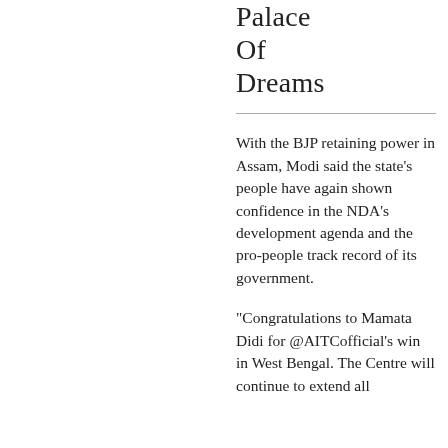Palace Of Dreams
With the BJP retaining power in Assam, Modi said the state's people have again shown confidence in the NDA's development agenda and the pro-people track record of its government.
"Congratulations to Mamata Didi for @AITCofficial's win in West Bengal. The Centre will continue to extend all